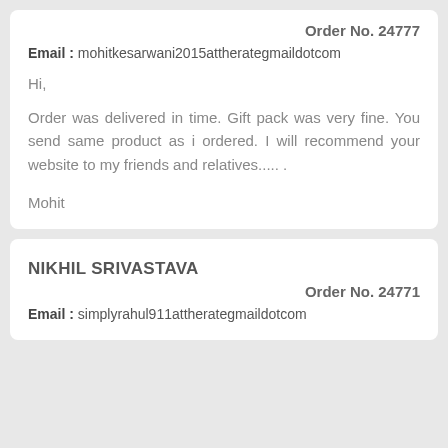Order No. 24777
Email : mohitkesarwani2015attherategmaildotcom
Hi,
Order was delivered in time. Gift pack was very fine. You send same product as i ordered. I will recommend your website to my friends and relatives..... .
Mohit
NIKHIL SRIVASTAVA
Order No. 24771
Email : simplyrahul911attherategmaildotcom